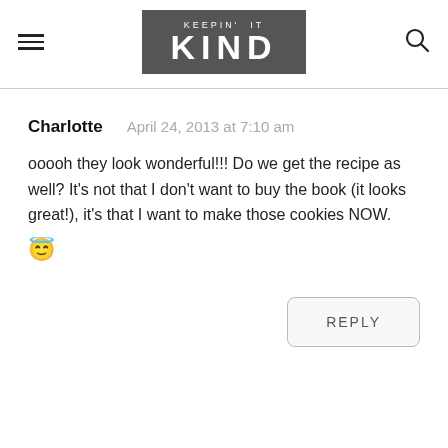KEEPIN' IT KIND
Charlotte   April 24, 2013 at 7:10 am
ooooh they look wonderful!!! Do we get the recipe as well? It's not that I don't want to buy the book (it looks great!), it's that I want to make those cookies NOW. 😬
REPLY